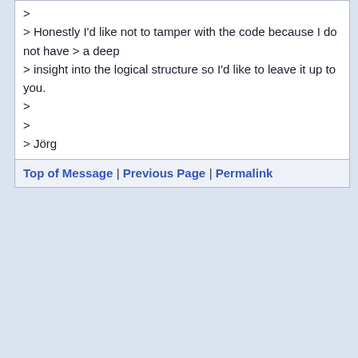>
> Honestly I'd like not to tamper with the code because I do not have > a deep
> insight into the logical structure so I'd like to leave it up to you.
>
>
> Jörg
Top of Message | Previous Page | Permalink